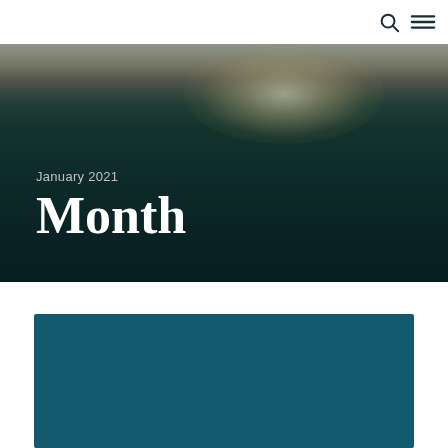[Figure (photo): Aerial photograph of a forested landscape at sunrise or sunset with warm glow on the horizon, overlaid with text 'January 2021' and large heading 'Month']
January 2021
Month
[Figure (other): Teal/dark cyan colored card block at the bottom of the page]